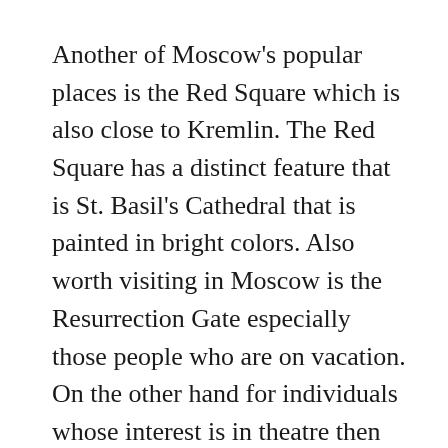Another of Moscow's popular places is the Red Square which is also close to Kremlin. The Red Square has a distinct feature that is St. Basil's Cathedral that is painted in bright colors. Also worth visiting in Moscow is the Resurrection Gate especially those people who are on vacation. On the other hand for individuals whose interest is in theatre then they can consider visiting the famous Bolshoi theatre, one of the largest in Russia. Visitors who travel to Moscow are usually allowed in for shows as long as they have booked tickets before the shows. However, as expected, the tickets issued to tourists cost more than those sold to locals. As such it is better to make an online booking